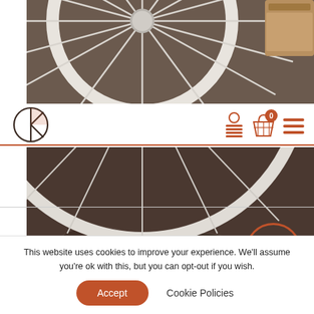[Figure (photo): Top portion of a white bicycle wheel against a dark brick/stone background, cropped in the upper section of the page.]
[Figure (logo): Circular logo with a K initial and a vertical line through it, in dark brown/gray color.]
[Figure (photo): Lower portion of a white bicycle wheel resting on dark stone/cobblestone pavement, with a burnt-orange circle overlay on the right side.]
ROMANTIC DINNER
This website uses cookies to improve your experience. We'll assume you're ok with this, but you can opt-out if you wish.
Accept
Cookie Policies